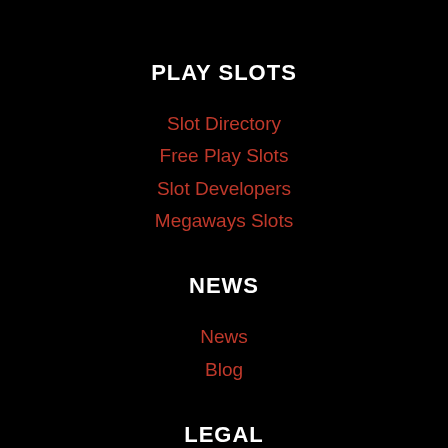PLAY SLOTS
Slot Directory
Free Play Slots
Slot Developers
Megaways Slots
NEWS
News
Blog
LEGAL